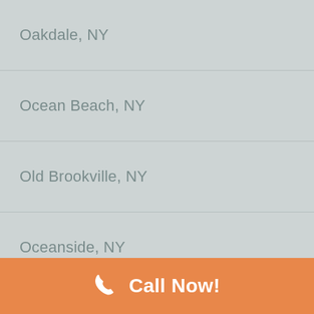Oakdale, NY
Ocean Beach, NY
Old Brookville, NY
Oceanside, NY
Old Field, NY
Old Bethpage, NY
Old Westbury, NY
Orient, NY
Oyster Bay, NY
Call Now!